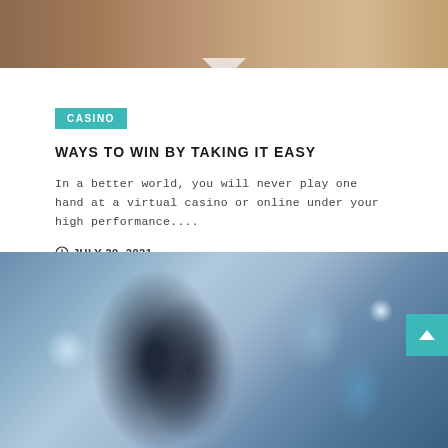[Figure (photo): Top portion of a photo showing a desk or table surface with blurred background, warm toned, cropped at top of page]
CASINO
WAYS TO WIN BY TAKING IT EASY
In a better world, you will never play one hand at a virtual casino or online under your high performance....
JULY 20, 2021
[Figure (photo): Photo of an Asian man wearing a black face mask and glasses, working at a desk in an office environment with blurred background]